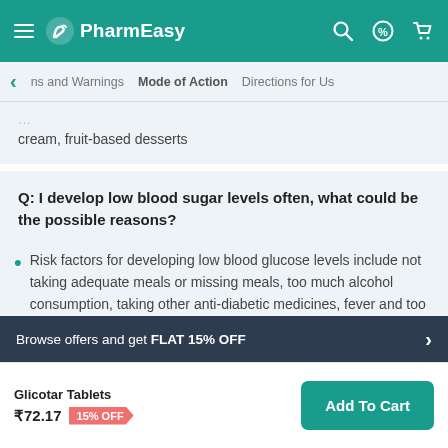PharmEasy
ns and Warnings   Mode of Action   Directions for Us
cream, fruit-based desserts
Q: I develop low blood sugar levels often, what could be the possible reasons?
Risk factors for developing low blood glucose levels include not taking adequate meals or missing meals, too much alcohol consumption, taking other anti-diabetic medicines, fever and too much exercise...  Read more
Browse offers and get FLAT 15% OFF
Glicotar Tablets ₹72.17  15% OFF
Add To Cart